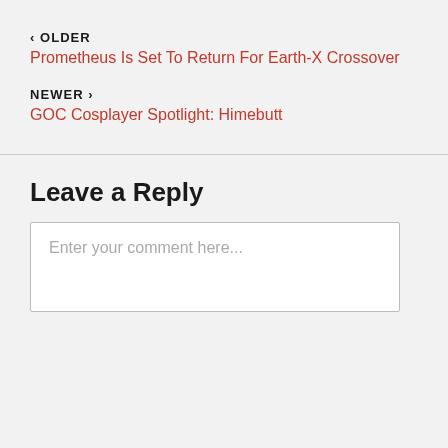‹ OLDER
Prometheus Is Set To Return For Earth-X Crossover
NEWER ›
GOC Cosplayer Spotlight: Himebutt
Leave a Reply
Enter your comment here...